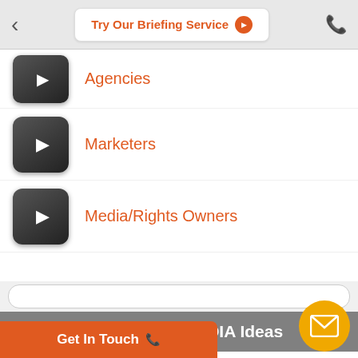Try Our Briefing Service
Agencies
Marketers
Media/Rights Owners
More LOCAL MEDIA Ideas
Advertise in Essex with EssexLive and the Essex Chronicle
Advertise in Buckinghamshire with BuckinghamshireLive
Get In Touch